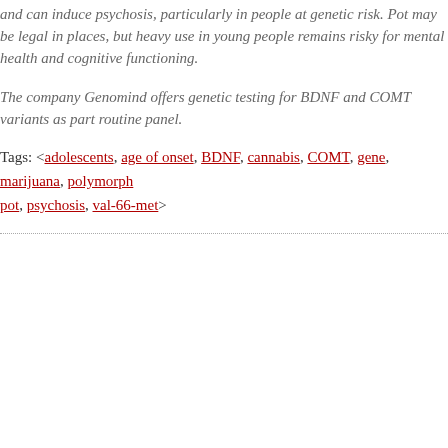and can induce psychosis, particularly in people at genetic risk. Pot may be legal in places, but heavy use in young people remains risky for mental health and cognitive functioning.
The company Genomind offers genetic testing for BDNF and COMT variants as part routine panel.
Tags: <adolescents, age of onset, BDNF, cannabis, COMT, gene, marijuana, polymorphism, pot, psychosis, val-66-met>